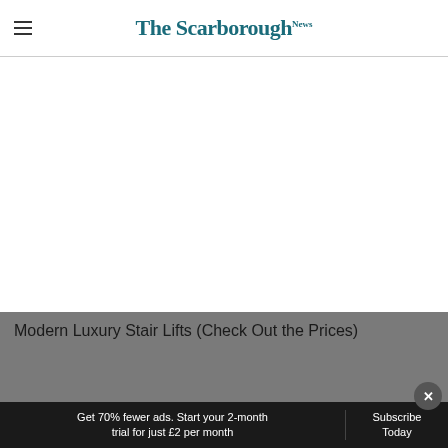The Scarborough News
[Figure (other): Empty white advertisement space below the header divider]
[Figure (other): Gray background content area with ad title text]
Modern Luxury Stair Lifts (Check Out the Prices)
Get 70% fewer ads. Start your 2-month trial for just £2 per month
Subscribe Today